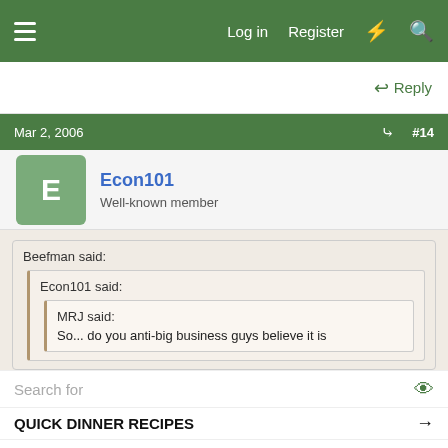Log in | Register
Reply
Mar 2, 2006  #14
Econ101
Well-known member
Beefman said:
Econ101 said:
MRJ said:
So... do you anti-big business guys believe it is
Click to expand...
Search for
QUICK DINNER RECIPES →
Ad | Business Focus